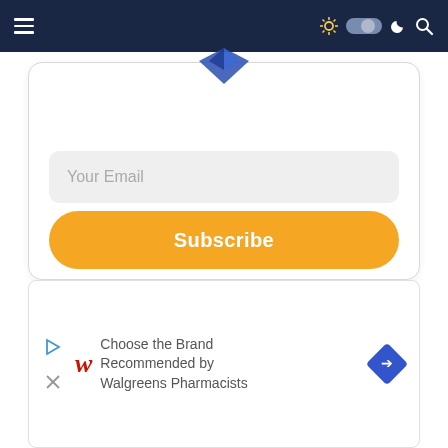[Figure (screenshot): Dark navy navigation bar with hamburger menu on left, and icons (sun, toggle switch, moon, search) on right]
[Figure (illustration): Blue diamond/kite logo partially visible at top of subscription card]
Your Email
Subscribe
[Figure (screenshot): Advertisement banner for Walgreens: 'Choose the Brand Recommended by Walgreens Pharmacists' with red cursive W logo and blue diamond navigation icon]